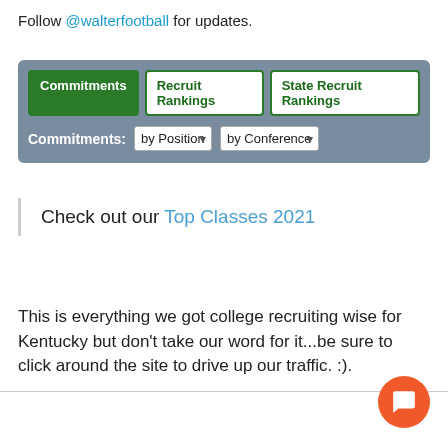Follow @walterfootball for updates.
[Figure (screenshot): Navigation tab bar with three buttons: Commitments (active/green), Recruit Rankings, State Recruit Rankings, and a second row with Commitments: label and two dropdowns: by Position and by Conference]
Check out our Top Classes 2021
This is everything we got college recruiting wise for Kentucky but don't take our word for it...be sure to click around the site to drive up our traffic. :).